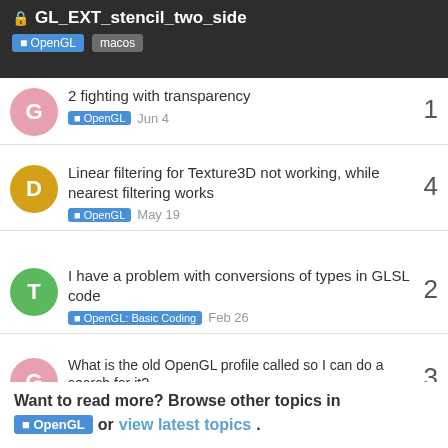🔒 GL_EXT_stencil_two_side | OpenGL  macos
2 fighting with transparency — OpenGL — Jun 4 — 1 reply
Linear filtering for Texture3D not working, while nearest filtering works — OpenGL — May 19 — 4 replies
I have a problem with conversions of types in GLSL code — OpenGL: Basic Coding — Feb 26 — 2 replies
What is the old OpenGL profile called so I can do a search for it? — OpenGL: Basic Coding — Apr 14 — 3 replies
Want to read more? Browse other topics in OpenGL or view latest topics.